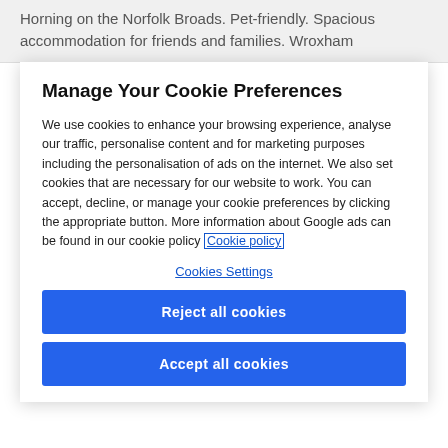Horning on the Norfolk Broads. Pet-friendly. Spacious accommodation for friends and families. Wroxham
Manage Your Cookie Preferences
We use cookies to enhance your browsing experience, analyse our traffic, personalise content and for marketing purposes including the personalisation of ads on the internet. We also set cookies that are necessary for our website to work. You can accept, decline, or manage your cookie preferences by clicking the appropriate button. More information about Google ads can be found in our cookie policy Cookie policy
Cookies Settings
Reject all cookies
Accept all cookies